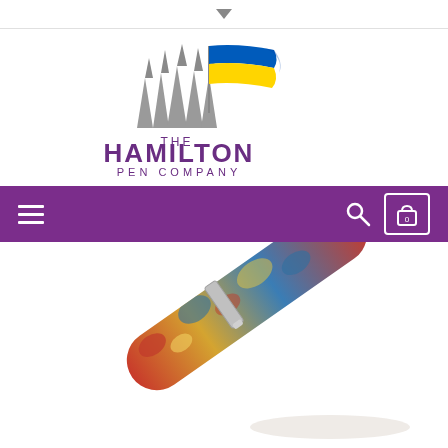▼ dropdown indicator
[Figure (logo): The Hamilton Pen Company logo: grey fountain pen nibs with Ukrainian flag (blue and yellow), text 'THE HAMILTON PEN COMPANY' in purple]
[Figure (screenshot): Purple navigation bar with hamburger menu on left, search icon and cart icon (showing 0) on right]
[Figure (photo): Close-up photo of a colorful resin fountain pen (red, blue, yellow mottled pattern) with silver clip, positioned diagonally]